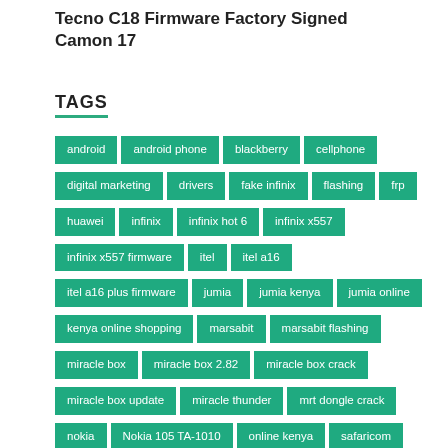Tecno C18 Firmware Factory Signed Camon 17
TAGS
android
android phone
blackberry
cellphone
digital marketing
drivers
fake infinix
flashing
frp
huawei
infinix
infinix hot 6
infinix x557
infinix x557 firmware
itel
itel a16
itel a16 plus firmware
jumia
jumia kenya
jumia online
kenya online shopping
marsabit
marsabit flashing
miracle box
miracle box 2.82
miracle box crack
miracle box update
miracle thunder
mrt dongle crack
nokia
Nokia 105 TA-1010
online kenya
safaricom
samsung
samsung frp
samsung s9
technology
tecno
tecno firmware
tecno kb8
touch screen
vet frp crack